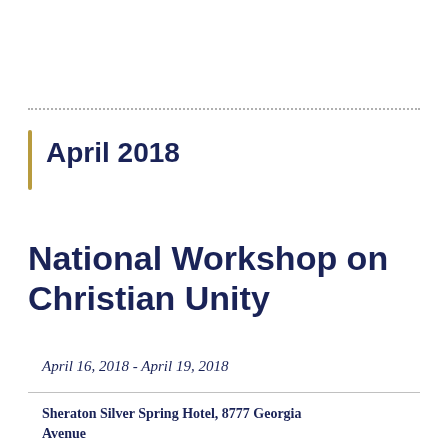April 2018
National Workshop on Christian Unity
April 16, 2018 - April 19, 2018
Sheraton Silver Spring Hotel, 8777 Georgia Avenue